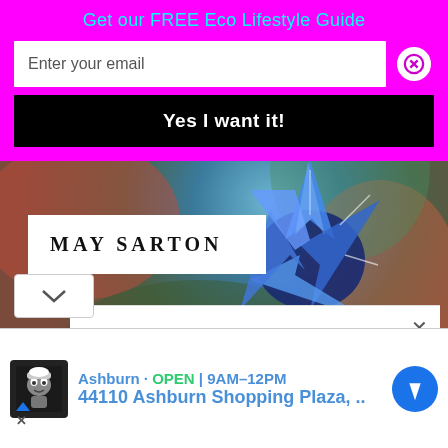Get our FREE Eco Lifestyle Guide
Enter your email
Yes I want it!
[Figure (photo): Close-up photo of a blue borage flower with blurred colorful background]
MAY SARTON
[Figure (screenshot): White overlay panel/ad popup with close X button]
Ashburn · OPEN | 9AM–12PM
44110 Ashburn Shopping Plaza, ..
[Figure (logo): Chef monkey robot icon logo on dark background]